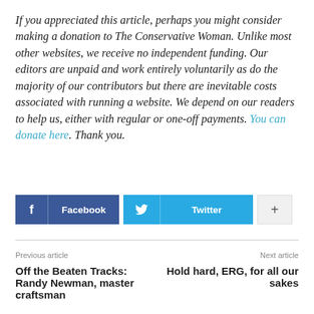If you appreciated this article, perhaps you might consider making a donation to The Conservative Woman. Unlike most other websites, we receive no independent funding. Our editors are unpaid and work entirely voluntarily as do the majority of our contributors but there are inevitable costs associated with running a website. We depend on our readers to help us, either with regular or one-off payments. You can donate here. Thank you.
[Figure (other): Social sharing buttons: Facebook, Twitter, and a plus/more button]
Previous article
Next article
Off the Beaten Tracks: Randy Newman, master craftsman
Hold hard, ERG, for all our sakes